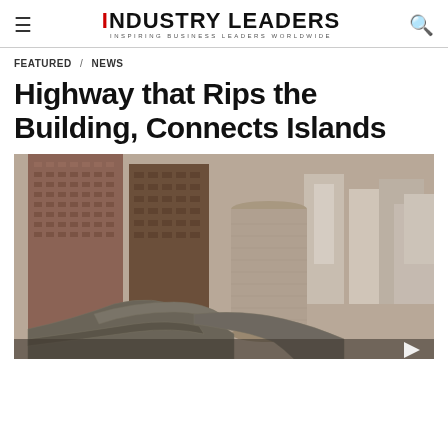iNDUSTRY LEADERS — INSPIRING BUSINESS LEADERS WORLDWIDE
FEATURED / NEWS
Highway that Rips the Building, Connects Islands
[Figure (photo): Aerial view of a dense urban cityscape with tall buildings and highway interchange ramps weaving between structures, likely Osaka, Japan. Brown and beige high-rise office buildings dominate the foreground with a cylindrical tower in the center and elevated highways curving through the city below.]